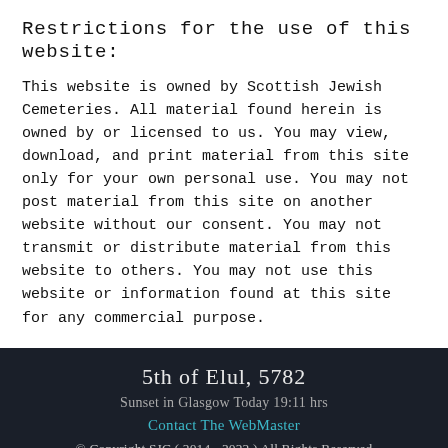Restrictions for the use of this website:
This website is owned by Scottish Jewish Cemeteries. All material found herein is owned by or licensed to us. You may view, download, and print material from this site only for your own personal use. You may not post material from this site on another website without our consent. You may not transmit or distribute material from this website to others. You may not use this website or information found at this site for any commercial purpose.
5th of Elul, 5782
Sunset in Glasgow Today 19:11 hrs
Contact The WebMaster
© Copyright SJC ( 2014 - 2022 ) All Rights Reserved
ה׳ בְּאֱלוּל תשפ״ב